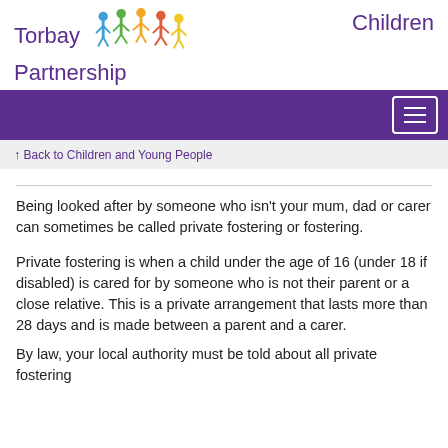Torbay Children Partnership
Back to Children and Young People
Being looked after by someone who isn't your mum, dad or carer can sometimes be called private fostering or fostering.
Private fostering is when a child under the age of 16 (under 18 if disabled) is cared for by someone who is not their parent or a close relative. This is a private arrangement that lasts more than 28 days and is made between a parent and a carer.
By law, your local authority must be told about all private fostering